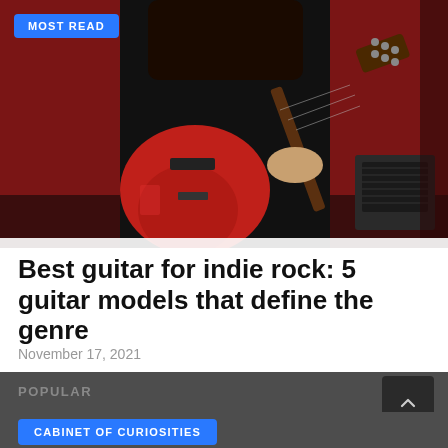[Figure (photo): Person wearing black outfit playing a red electric guitar against a red background with an amplifier visible in the background. A 'MOST READ' blue badge label is overlaid in the top-left corner of the image.]
Best guitar for indie rock: 5 guitar models that define the genre
November 17, 2021
POPULAR
CABINET OF CURIOSITIES